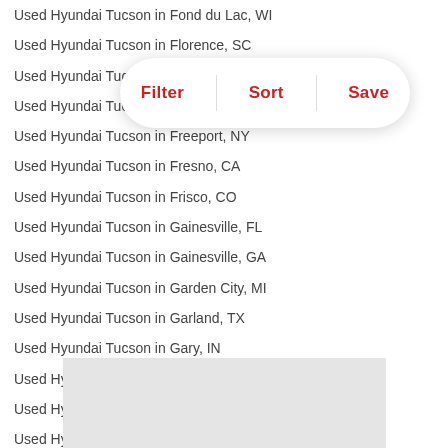Used Hyundai Tucson in Fond du Lac, WI
Used Hyundai Tucson in Florence, SC
Used Hyundai Tucson in Flower Mound, TX
Used Hyundai Tucson in Fort Worth, TX
Used Hyundai Tucson in Freeport, NY
Used Hyundai Tucson in Fresno, CA
Used Hyundai Tucson in Frisco, CO
Used Hyundai Tucson in Gainesville, FL
Used Hyundai Tucson in Gainesville, GA
Used Hyundai Tucson in Garden City, MI
Used Hyundai Tucson in Garland, TX
Used Hyundai Tucson in Gary, IN
Used Hyundai Tucson in Glendale, AZ
Used Hyundai Tucson in Glenolden, PA
Used Hyundai Tucson in Grand Rapids, MI
Used Hyundai Tucson in Green Bay, WI
Used Hyundai Tucson in Greensboro, NC
Used Hyundai Tucson in Greenwood, IN
Used Hyundai Tucson in Grosse Pointe, MI
Used Hyundai Tucson in Hammond, IN